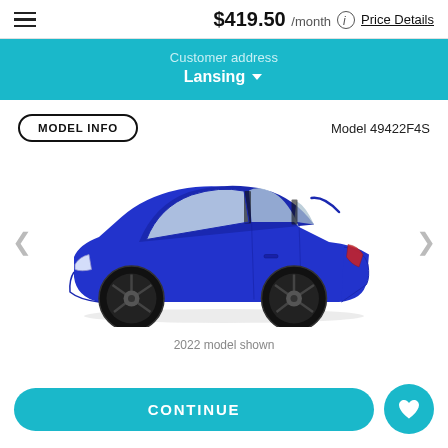$419.50 /month  Price Details
Customer address
Lansing
MODEL INFO
Model 49422F4S
[Figure (photo): Side profile of a blue 2022 Hyundai Elantra sedan with black wheels on a white background]
2022 model shown
CONTINUE